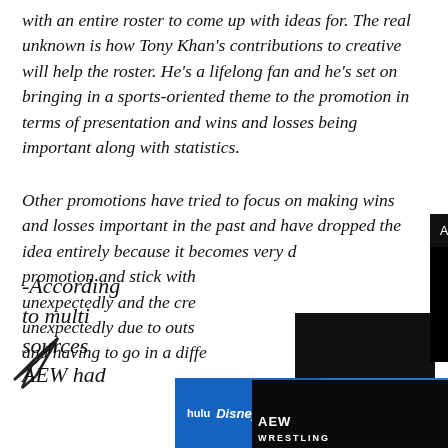with an entire roster to come up with ideas for. The real unknown is how Tony Khan's contributions to creative will help the roster. He's a lifelong fan and he's set on bringing in a sports-oriented theme to the promotion in terms of presentation and wins and losses being important along with statistics.
Other promotions have tried to focus on making wins and losses important in the past and have dropped the idea entirely because it becomes very [obscured] promotion and stick with [obscured] unexpectedly and the cre[obscured] unexpectedly due to outs[obscured] and having to go in a diffe[obscured]
[Figure (screenshot): Video popup overlay with dark background showing 'AEW All Out has a main event! In-person...' title bar with close button X, a muted video indicator (orange circle with mute icon), and a dark video content area with close circle button]
[Figure (screenshot): Advertisement banner for Disney Bundle featuring Hulu, Disney+, and ESPN+ logos with 'GET THE DISNEY BUNDLE' call to action and fine print text]
-According to multi[obscured] sources[obscured] AEW had